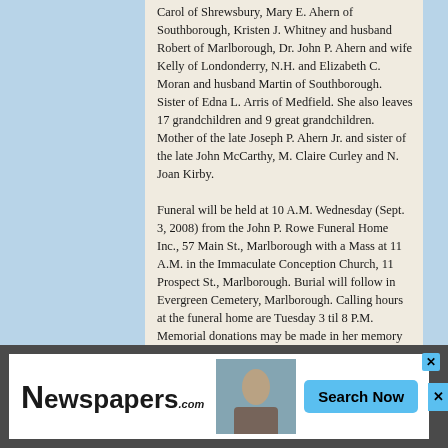Carol of Shrewsbury, Mary E. Ahern of Southborough, Kristen J. Whitney and husband Robert of Marlborough, Dr. John P. Ahern and wife Kelly of Londonderry, N.H. and Elizabeth C. Moran and husband Martin of Southborough. Sister of Edna L. Arris of Medfield. She also leaves 17 grandchildren and 9 great grandchildren. Mother of the late Joseph P. Ahern Jr. and sister of the late John McCarthy, M. Claire Curley and N. Joan Kirby.
Funeral will be held at 10 A.M. Wednesday (Sept. 3, 2008) from the John P. Rowe Funeral Home Inc., 57 Main St., Marlborough with a Mass at 11 A.M. in the Immaculate Conception Church, 11 Prospect St., Marlborough. Burial will follow in Evergreen Cemetery, Marlborough. Calling hours at the funeral home are Tuesday 3 til 8 P.M. Memorial donations may be made in her memory to
[Figure (other): Newspapers.com advertisement banner with logo, photo thumbnail, and Search Now button]